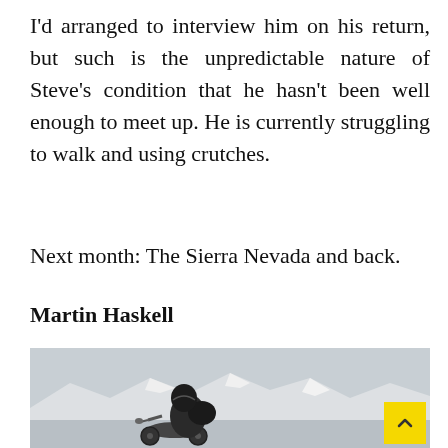I'd arranged to interview him on his return, but such is the unpredictable nature of Steve's condition that he hasn't been well enough to meet up. He is currently struggling to walk and using crutches.
Next month: The Sierra Nevada and back.
Martin Haskell
[Figure (photo): A motorcyclist viewed from behind, wearing a dark helmet and jacket with luggage, sitting on a motorcycle in a mountainous snowy landscape with cloudy skies.]